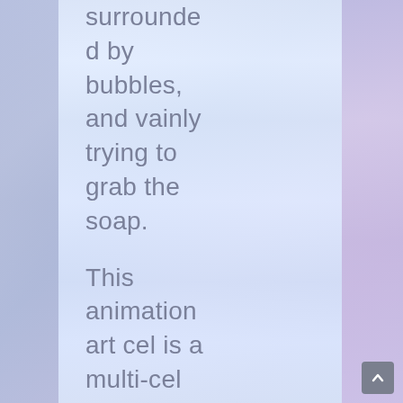surrounded by bubbles, and vainly trying to grab the soap. This animation art cel is a multi-cel set-up with effects cels of bubbles and soap. Dopey is